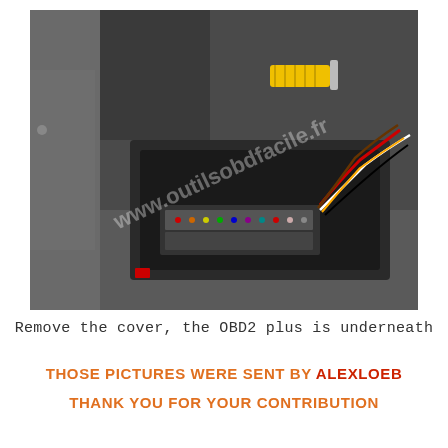[Figure (photo): Photo of a car interior showing the area beneath a removed panel cover, with an OBD2 connector and wiring harness visible. Yellow connector visible at top, large multi-pin connector with colored wires at bottom. Watermark text 'www.outilsobdfacile.fr' overlaid on the image.]
Remove the cover, the OBD2 plus is underneath
THOSE PICTURES WERE SENT BY ALEXLOEB
THANK YOU FOR YOUR CONTRIBUTION